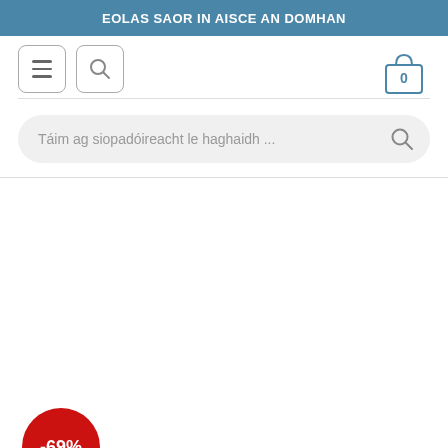EOLAS SAOR IN AISCE AN DOMHAN
[Figure (screenshot): Navigation bar with hamburger menu button, search button, and shopping cart icon showing 0 items]
[Figure (screenshot): Search bar with placeholder text 'Táim ag siopadóireacht le haghaidh ...' and search icon]
[Figure (screenshot): Red circular discount badge showing -69%]